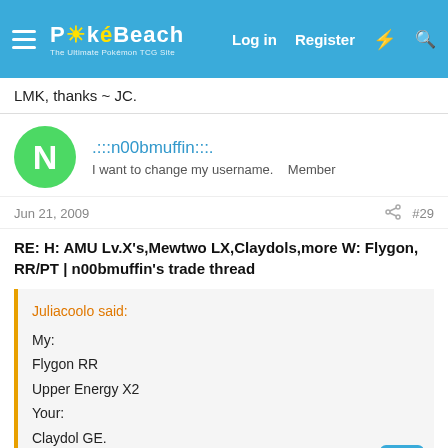PokéBeach — Log in  Register
LMK, thanks ~ JC.
.:::n00bmuffin:::.   I want to change my username.   Member
Jun 21, 2009   #29
RE: H: AMU Lv.X's,Mewtwo LX,Claydols,more W: Flygon, RR/PT | n00bmuffin's trade thread
Juliacoolo said:
My:
Flygon RR
Upper Energy X2
Your:
Claydol GE.

LMK, thanks ~ JC.